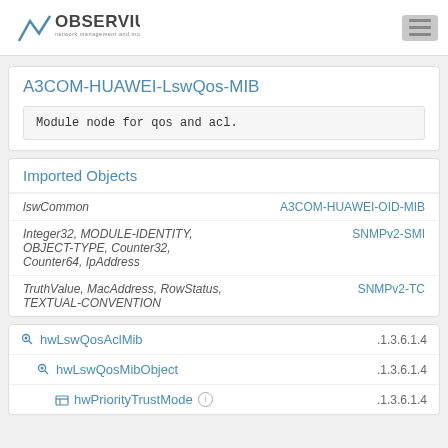OBSERVIUM — network management and monitoring
A3COM-HUAWEI-LswQos-MIB
Module node for qos and acl.
Imported Objects
| Object | Module |
| --- | --- |
| lswCommon | A3COM-HUAWEI-OID-MIB |
| Integer32, MODULE-IDENTITY, OBJECT-TYPE, Counter32, Counter64, IpAddress | SNMPv2-SMI |
| TruthValue, MacAddress, RowStatus, TEXTUAL-CONVENTION | SNMPv2-TC |
hwLswQosAclMib .1.3.6.1.4
hwLswQosMibObject .1.3.6.1.4
hwPriorityTrustMode .1.3.6.1.4